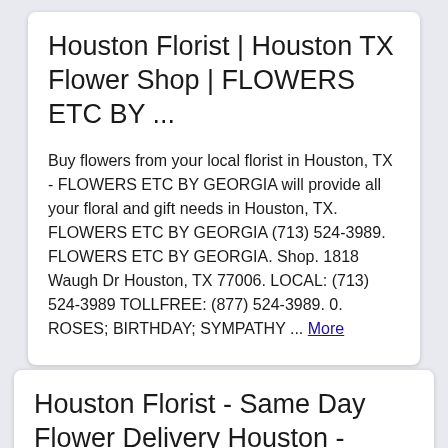Houston Florist | Houston TX Flower Shop | FLOWERS ETC BY ...
Buy flowers from your local florist in Houston, TX - FLOWERS ETC BY GEORGIA will provide all your floral and gift needs in Houston, TX. FLOWERS ETC BY GEORGIA (713) 524-3989. FLOWERS ETC BY GEORGIA. Shop. 1818 Waugh Dr Houston, TX 77006. LOCAL: (713) 524-3989 TOLLFREE: (877) 524-3989. 0. ROSES; BIRTHDAY; SYMPATHY ... More
Houston Florist - Same Day Flower Delivery Houston -